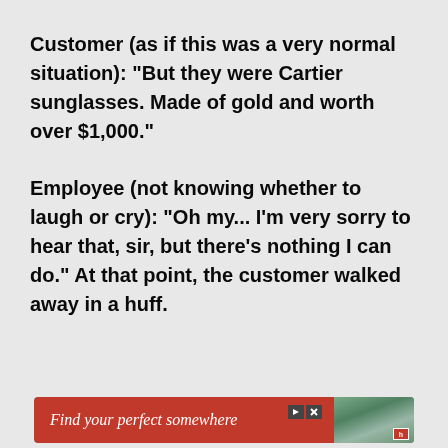Customer (as if this was a very normal situation): “But they were Cartier sunglasses. Made of gold and worth over $1,000.”
Employee (not knowing whether to laugh or cry): “Oh my... I’m very sorry to hear that, sir, but there’s nothing I can do.” At that point, the customer walked away in a huff.
[Figure (other): Advertisement banner: red background with text 'Find your perfect somewhere' and a thumbnail image of people at a pool/outdoor venue, with play and close controls.]